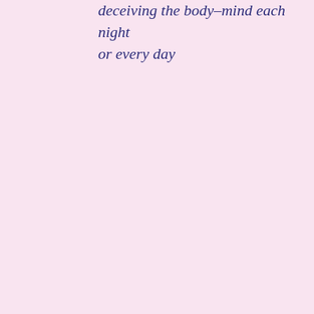deceiving the body–mind each night or every day